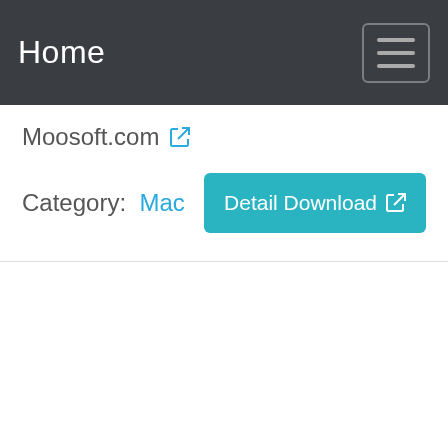Home
Moosoft.com
Category:  Mac
Detail Download